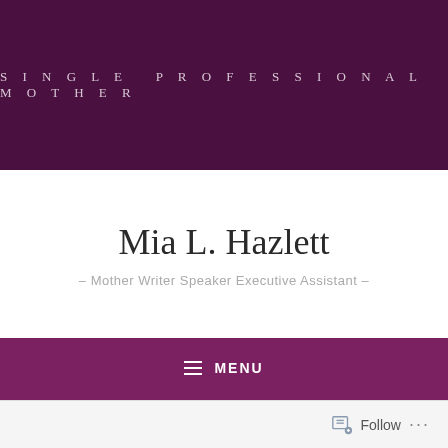SINGLE PROFESSIONAL MOTHER
Mia L. Hazlett
– Mother Writer Speaker Executive Assistant –
≡ MENU
CATEGORY: PARENTS
Follow ...